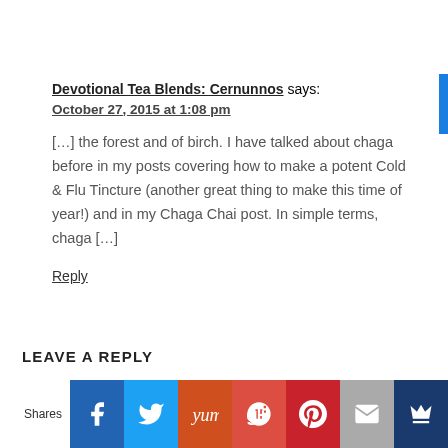Devotional Tea Blends: Cernunnos says:
October 27, 2015 at 1:08 pm
[…] the forest and of birch. I have talked about chaga before in my posts covering how to make a potent Cold & Flu Tincture (another great thing to make this time of year!) and in my Chaga Chai post. In simple terms, chaga […]
Reply
LEAVE A REPLY